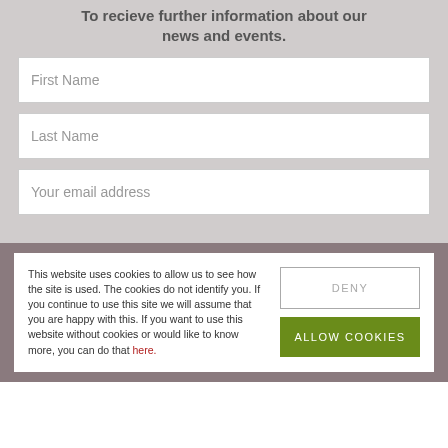To recieve further information about our news and events.
First Name
Last Name
Your email address
This website uses cookies to allow us to see how the site is used. The cookies do not identify you. If you continue to use this site we will assume that you are happy with this. If you want to use this website without cookies or would like to know more, you can do that here.